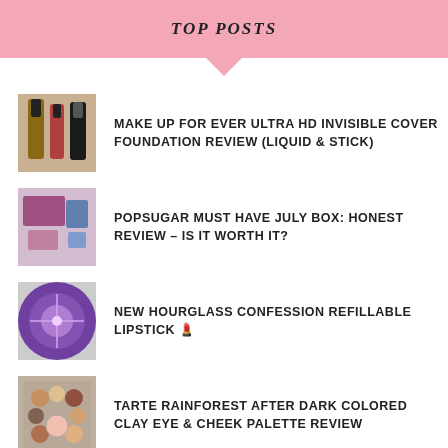TOP POSTS
MAKE UP FOR EVER ULTRA HD INVISIBLE COVER FOUNDATION REVIEW (LIQUID & STICK)
POPSUGAR MUST HAVE JULY BOX: HONEST REVIEW - IS IT WORTH IT?
NEW HOURGLASS CONFESSION REFILLABLE LIPSTICK 💄
TARTE RAINFOREST AFTER DARK COLORED CLAY EYE & CHEEK PALETTE REVIEW
UPDATE